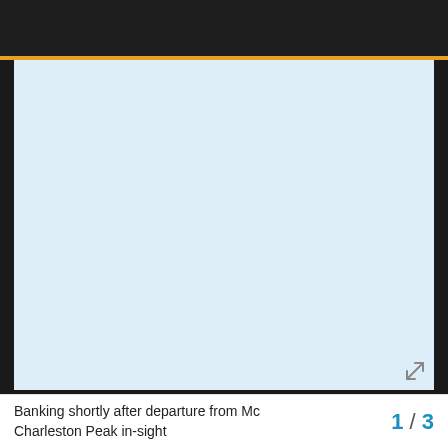[Figure (photo): Light blue empty image area, possibly an aviation or aerial photo. Contains an expand/fullscreen icon in the bottom right corner.]
Banking shortly after departure from Mc Charleston Peak in-sight
1 / 3